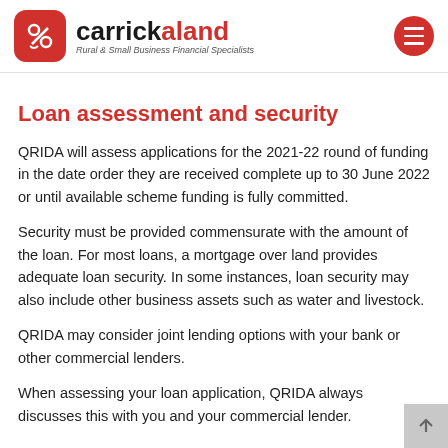carrickaland — Rural & Small Business Financial Specialists
Loan assessment and security
QRIDA will assess applications for the 2021-22 round of funding in the date order they are received complete up to 30 June 2022 or until available scheme funding is fully committed.
Security must be provided commensurate with the amount of the loan. For most loans, a mortgage over land provides adequate loan security. In some instances, loan security may also include other business assets such as water and livestock.
QRIDA may consider joint lending options with your bank or other commercial lenders.
When assessing your loan application, QRIDA always discusses this with you and your commercial lender.